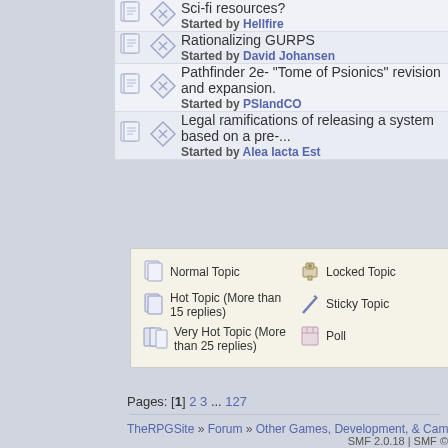| Sci-fi resources? | Started by Hellfire |
| Rationalizing GURPS | Started by David Johansen |
| Pathfinder 2e- "Tome of Psionics" revision and expansion. | Started by PSlandCO |
| Legal ramifications of releasing a system based on a pre-... | Started by Alea Iacta Est |
Pages: [1] 2 3 ... 127
TheRPGSite » Forum » Other Games, Development, & Campaigns » Design, ...
Normal Topic | Hot Topic (More than 15 replies) | Very Hot Topic (More than 25 replies) | Locked Topic | Sticky Topic | Poll
SMF 2.0.18 | SMF ©